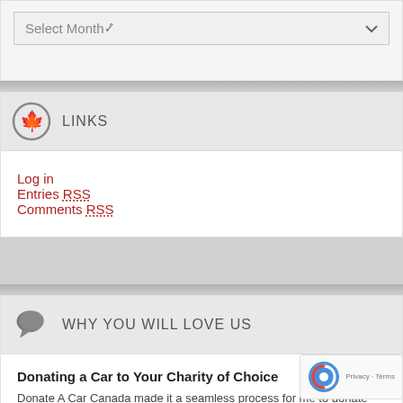[Figure (screenshot): Select Month dropdown widget]
LINKS
Log in
Entries RSS
Comments RSS
WHY YOU WILL LOVE US
Donating a Car to Your Charity of Choice
Donate A Car Canada made it a seamless process for me to donate my late mother's vehicle to a special charity. Emails were sent to me instantly ... >>